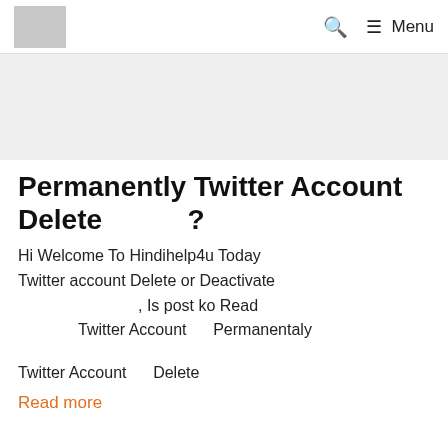Logo | Search | Menu
[Figure (other): Advertisement banner placeholder area (light gray background)]
Permanently Twitter Account Delete ?
Hi Welcome To Hindihelp4u Today Twitter account Delete or Deactivate , Is post ko Read Twitter Account Permanentaly
Twitter Account Delete
Read more